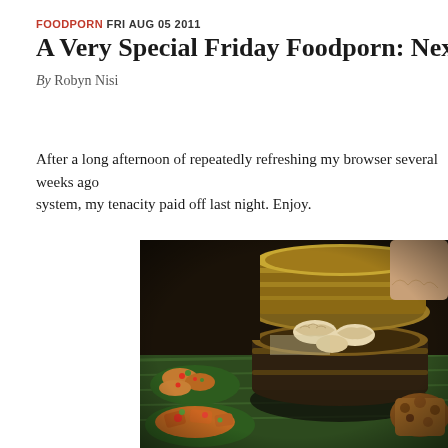FOODPORN FRI AUG 05 2011
A Very Special Friday Foodporn: Next's Tour o
By Robyn Nisi
After a long afternoon of repeatedly refreshing my browser several weeks ago system, my tenacity paid off last night. Enjoy.
[Figure (photo): A bamboo steamer basket open and filled with dumplings, surrounded by various Asian dishes on banana leaves on a dark table.]